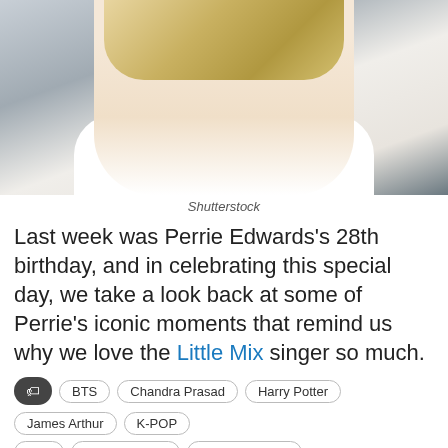[Figure (photo): Photo of a smiling blonde woman in a white shirt, photographed outdoors (street style). Photo credit: Shutterstock.]
Shutterstock
Last week was Perrie Edwards's 28th birthday, and in celebrating this special day, we take a look back at some of Perrie's iconic moments that remind us why we love the Little Mix singer so much.
BTS
Chandra Prasad
Harry Potter
James Arthur
K-POP
Loki
Maren Stoffels
Perrie Edwards
[Figure (photo): Advertisement banner for The Walking Dead Survivors game with PLAY NOW button.]